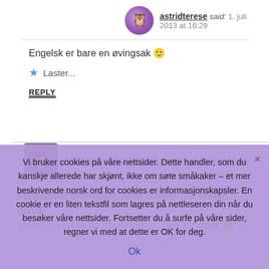astridterese said: 1. juli 2013 at 16:29
Engelsk er bare en øvingsak 🙂
★  Laster...
REPLY
Ann Kristin (@askine09) said: 1. juli 2013 at 05:42
Fantastiske smakebiter, Astid Terese! Tror nesten denne serien må på neste handleliste… Takk for tipset 🙂
Vi bruker cookies på våre nettsider. Dette handler, som du kanskje allerede har skjønt, ikke om søte småkaker – et mer beskrivende norsk ord for cookies er informasjonskapsler. En cookie er en liten tekstfil som lagres på nettleseren din når du besøker våre nettsider. Fortsetter du å surfe på våre sider, regner vi med at dette er OK for deg.
Ok